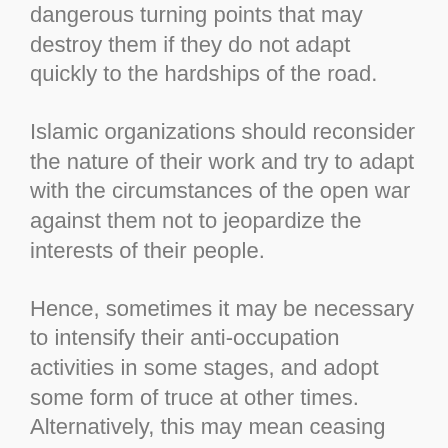dangerous turning points that may destroy them if they do not adapt quickly to the hardships of the road.
Islamic organizations should reconsider the nature of their work and try to adapt with the circumstances of the open war against them not to jeopardize the interests of their people.
Hence, sometimes it may be necessary to intensify their anti-occupation activities in some stages, and adopt some form of truce at other times. Alternatively, this may mean ceasing the operations that target the Israelis inside the Palestinian lands that were occupied in 1948 C.E. completely, as long as this is for their benefit and the [interests of the Palestinian people].